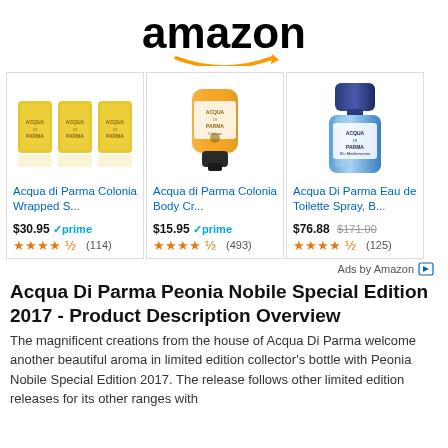[Figure (logo): Amazon logo with black wordmark and orange smile/arrow beneath]
[Figure (photo): Acqua di Parma Colonia Wrapped Soap bars in yellow packaging (set of 3)]
Acqua di Parma Colonia Wrapped S...
$30.95 prime ★★★★½ (114)
[Figure (photo): Acqua di Parma Colonia Body Cream tube in orange/yellow with black cap]
Acqua di Parma Colonia Body Cr...
$15.95 prime ★★★★½ (493)
[Figure (photo): Acqua Di Parma Eau de Toilette Spray blue bottle with dark blue cap]
Acqua Di Parma Eau de Toilette Spray, B...
$76.88 $171.00 ★★★★½ (125)
Ads by Amazon
Acqua Di Parma Peonia Nobile Special Edition 2017 - Product Description Overview
The magnificent creations from the house of Acqua Di Parma welcome another beautiful aroma in limited edition collector's bottle with Peonia Nobile Special Edition 2017. The release follows other limited edition releases for its other ranges with